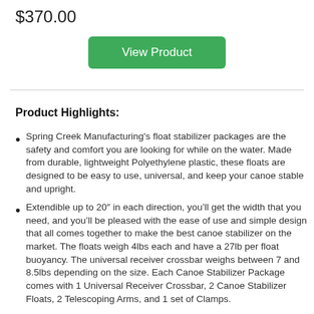$370.00
View Product
Product Highlights:
Spring Creek Manufacturing's float stabilizer packages are the safety and comfort you are looking for while on the water. Made from durable, lightweight Polyethylene plastic, these floats are designed to be easy to use, universal, and keep your canoe stable and upright.
Extendible up to 20″ in each direction, you’ll get the width that you need, and you’ll be pleased with the ease of use and simple design that all comes together to make the best canoe stabilizer on the market. The floats weigh 4lbs each and have a 27lb per float buoyancy. The universal receiver crossbar weighs between 7 and 8.5lbs depending on the size. Each Canoe Stabilizer Package comes with 1 Universal Receiver Crossbar, 2 Canoe Stabilizer Floats, 2 Telescoping Arms, and 1 set of Clamps.
Hydrodynamic Design for minimal drag through the water and excellent stability. Easily adjustable with locking cam lever arms. Color options: Gray, Red and…